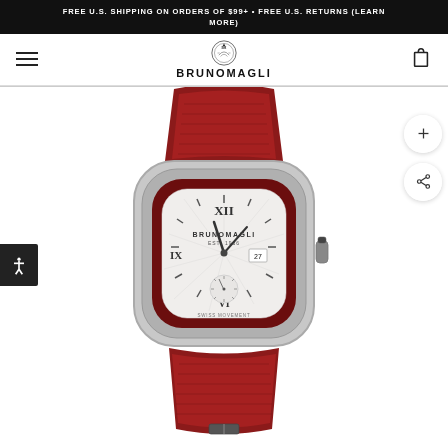FREE U.S. SHIPPING ON ORDERS OF $99+ • FREE U.S. RETURNS (LEARN MORE)
[Figure (logo): Bruno Magli brand logo with crest and BRUNOMAGLI wordmark]
[Figure (photo): Bruno Magli luxury wristwatch with red/burgundy alligator leather strap, silver stainless steel cushion-shaped case, white dial with Roman numerals, sub-seconds dial, date window, and BRUNOMAGLI EST. 1936 text on dial]